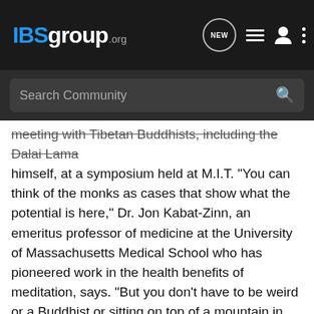IBSgroup.org
Search Community
meeting with Tibetan Buddhists, including the Dalai Lama himself, at a symposium held at M.I.T. "You can think of the monks as cases that show what the potential is here," Dr. Jon Kabat-Zinn, an emeritus professor of medicine at the University of Massachusetts Medical School who has pioneered work in the health benefits of meditation, says. "But you don't have to be weird or a Buddhist or sitting on top of a mountain in India to derive benefits from this. This kind of study is in its infancy, but we're on the verge of discovering hugely fascinating things." In the 2,500-year history of Buddhism, the religion has directed its energy inward in an attempt to train the mind to understand the mental state of happiness, to identify and defuse sources of negative emotion and to cultivate emotional states like compassion to improve personal and societal well-being. For decades, scientific research in this country has focused on the short-term effects of meditation on the nervous system, finding